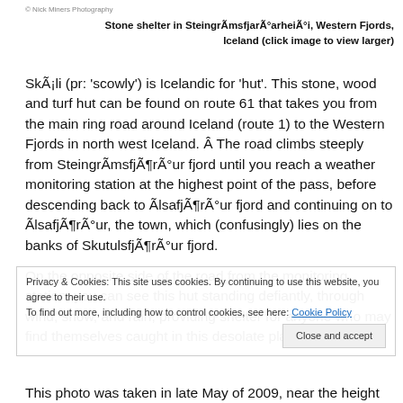© Nick Miners Photography
Stone shelter in SteingrÃmsfjarÃ°arheiÃ°i, Western Fjords, Iceland (click image to view larger)
SkÃ¡li (pr: 'scowly') is Icelandic for 'hut'. This stone, wood and turf hut can be found on route 61 that takes you from the main ring road around Iceland (route 1) to the Western Fjords in north west Iceland. Â The road climbs steeply from SteingrÃmsfjÃ¶rÃ°ur fjord until you reach a weather monitoring station at the highest point of the pass, before descending back to ÃlsafjÃ¶rÃ°ur fjord and continuing on to ÃlsafjÃ¶rÃ°ur, the town, which (confusingly) lies on the banks of SkutulsfjÃ¶rÃ°ur fjord.
On the opposite side of the road from the monitoring station, you can see this hut standing defiantly, through wind, snow, and rain, providing shelter for anyone who may find themselves caught in this desolate place.
Privacy & Cookies: This site uses cookies. By continuing to use this website, you agree to their use. To find out more, including how to control cookies, see here: Cookie Policy
This photo was taken in late May of 2009, near the height